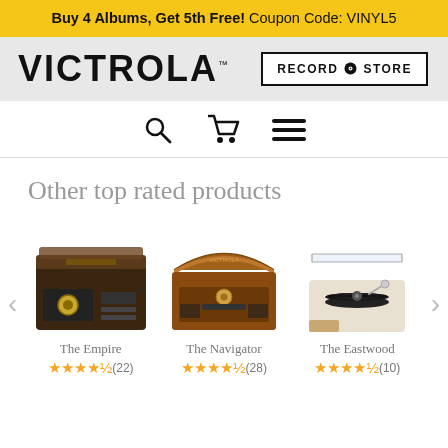Buy 4 Albums, Get 5th Free! Coupon Code: VINYL5
[Figure (logo): VICTROLA logo with Record Store button in header]
[Figure (other): Navigation icons: search magnifier, shopping cart, hamburger menu]
Other top rated products
[Figure (photo): The Empire record player - vintage style wood cabinet turntable, closed lid view]
The Empire ★★★★½(22)
[Figure (photo): The Navigator record player - wood cabinet open lid showing turntable inside]
The Navigator ★★★★½(28)
[Figure (photo): The Eastwood record player - compact modern turntable with clear lid]
The Eastwood ★★★★½(10)